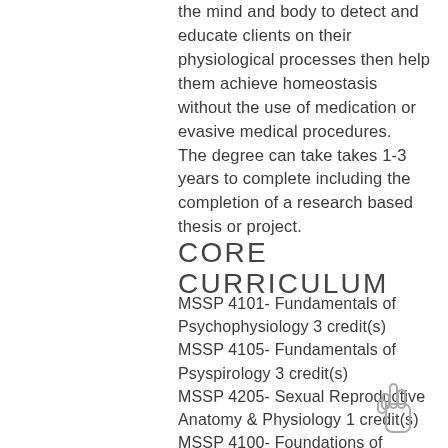the mind and body to detect and educate clients on their physiological processes then help them achieve homeostasis without the use of medication or evasive medical procedures. The degree can take takes 1-3 years to complete including the completion of a research based thesis or project.
CORE CURRICULUM
MSSP 4101- Fundamentals of Psychophysiology 3 credit(s)
MSSP 4105- Fundamentals of Psyspirology 3 credit(s)
MSSP 4205- Sexual Reproductive Anatomy & Physiology 1 credit(s)
MSSP 4100- Foundations of...